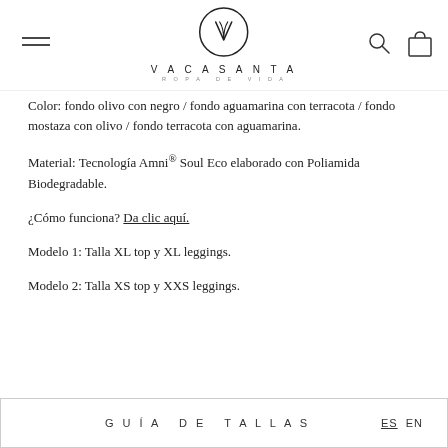VACASANTA ROPA DE VIDA
Color: fondo olivo con negro / fondo aguamarina con terracota / fondo mostaza con olivo / fondo terracota con aguamarina.
Material: Tecnología Amni® Soul Eco elaborado con Poliamida Biodegradable.
¿Cómo funciona? Da clic aquí.
Modelo 1: Talla XL top y XL leggings.
Modelo 2: Talla XS top y XXS leggings.
GUÍA DE TALLAS   ES  EN